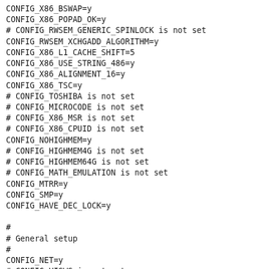CONFIG_X86_BSWAP=y
CONFIG_X86_POPAD_OK=y
# CONFIG_RWSEM_GENERIC_SPINLOCK is not set
CONFIG_RWSEM_XCHGADD_ALGORITHM=y
CONFIG_X86_L1_CACHE_SHIFT=5
CONFIG_X86_USE_STRING_486=y
CONFIG_X86_ALIGNMENT_16=y
CONFIG_X86_TSC=y
# CONFIG_TOSHIBA is not set
# CONFIG_MICROCODE is not set
# CONFIG_X86_MSR is not set
# CONFIG_X86_CPUID is not set
CONFIG_NOHIGHMEM=y
# CONFIG_HIGHMEM4G is not set
# CONFIG_HIGHMEM64G is not set
# CONFIG_MATH_EMULATION is not set
CONFIG_MTRR=y
CONFIG_SMP=y
CONFIG_HAVE_DEC_LOCK=y

#
# General setup
#
CONFIG_NET=y
# CONFIG_VISWS is not set